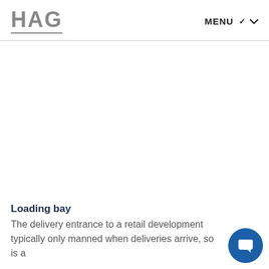HAG | MENU
Loading bay
The delivery entrance to a retail development typically only manned when deliveries arrive, so is a